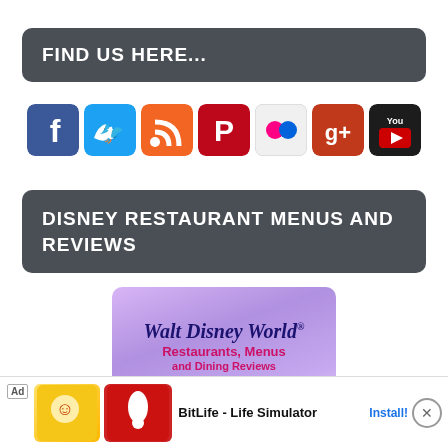FIND US HERE...
[Figure (infographic): Row of social media icons: Facebook (blue), Twitter (cyan), RSS (orange), Pinterest (red), Flickr (light/dots), Google+ (red/orange), YouTube (black/red)]
DISNEY RESTAURANT MENUS AND REVIEWS
[Figure (infographic): Walt Disney World Restaurants, Menus and Dining Reviews promotional banner with purple gradient background]
[Figure (infographic): Ad banner: BitLife - Life Simulator app advertisement with Install button and close X button]